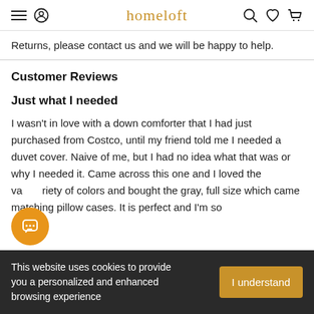homeloft
Returns, please contact us and we will be happy to help.
Customer Reviews
Just what I needed
I wasn't in love with a down comforter that I had just purchased from Costco, until my friend told me I needed a duvet cover. Naive of me, but I had no idea what that was or why I needed it. Came across this one and I loved the variety of colors and bought the gray, full size which came with matching pillow cases. It is perfect and I'm so
This website uses cookies to provide you a personalized and enhanced browsing experience